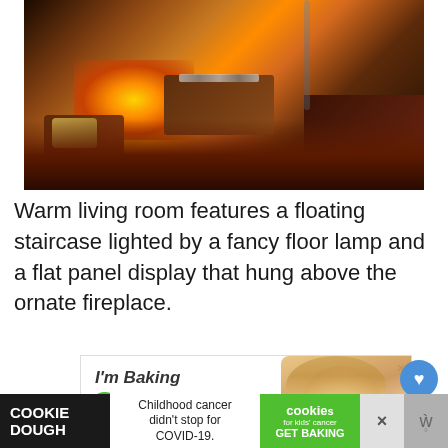[Figure (photo): Warm living room interior with a glowing fireplace, dark brown sofas, decorative pillows, and a wooden coffee table with items on top. The scene is warmly lit with orange and golden tones from the fire.]
Warm living room features a floating staircase lighted by a fancy floor lamp and a flat panel display that hung above the ornate fireplace.
[Figure (screenshot): Advertisement for 'Cookies for Kids' Cancer: 'I'm Baking COOKIES For A CURE So can you!' with a smiling blonde girl and close button (×).]
[Figure (screenshot): Bottom banner ad: 'COOKIE DOUGH' on dark background, 'Childhood cancer didn't stop for COVID-19.' in white center box, 'cookies for kids cancer GET BAKING' green logo, and two close (×) buttons.]